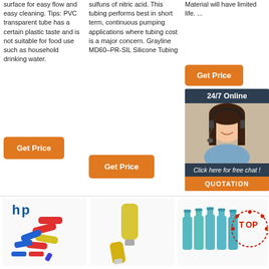surface for easy flow and easy cleaning. Tips: PVC transparent tube has a certain plastic taste and is not suitable for food use such as household drinking water.
[Figure (other): Orange Get Price button]
sulfuns of nitric acid. This tubing performs best in short term, continuous pumping applications where tubing cost is a major concern. Grayline MD60–PR-SIL Silicone Tubing
[Figure (other): Orange Get Price button (column 2)]
Material will have limited life. ...
[Figure (other): Orange Get Price button (column 3)]
[Figure (other): 24/7 Online chat widget with customer service representative photo and QUOTATION button]
[Figure (other): HP logo and colorful wire connectors product image]
[Figure (other): Yellow heat shrink connector product image]
[Figure (other): Blue spray bottles with TOP badge product image]